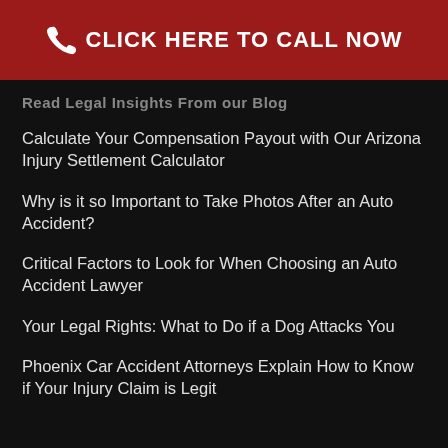[Figure (other): Red header bar with phone icon and 'CLICK HERE TO CALL NOW' call-to-action button]
Read Legal Insights From our Blog
Calculate Your Compensation Payout with Our Arizona Injury Settlement Calculator
Why is it so Important to Take Photos After an Auto Accident?
Critical Factors to Look for When Choosing an Auto Accident Lawyer
Your Legal Rights: What to Do if a Dog Attacks You
Phoenix Car Accident Attorneys Explain How to Know if Your Injury Claim is Legit